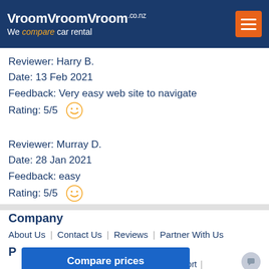VroomVroomVroom.co.nz — We compare car rental
Reviewer: Harry B.
Date: 13 Feb 2021
Feedback: Very easy web site to navigate
Rating: 5/5
Reviewer: Murray D.
Date: 28 Jan 2021
Feedback: easy
Rating: 5/5
Company
About Us | Contact Us | Reviews | Partner With Us
P
Compare prices
Airport | Napier Airport |